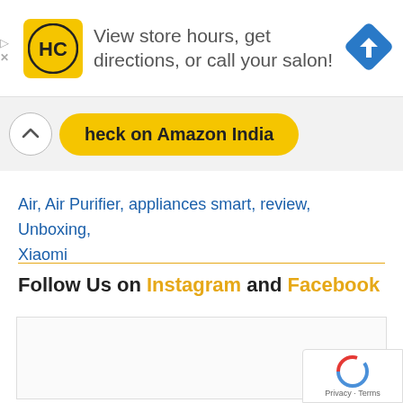[Figure (advertisement): Ad banner with HC logo (yellow background, black HC letters), text 'View store hours, get directions, or call your salon!', and a blue navigation/directions diamond icon on the right.]
[Figure (screenshot): Partial Amazon India button with text 'heck on Amazon India' visible (partially cut off), with a chevron/up arrow on the left side.]
Air, Air Purifier, appliances smart, review, Unboxing, Xiaomi
Follow Us on Instagram and Facebook
[Figure (screenshot): Embedded social media widget placeholder (empty/loading box).]
[Figure (other): Google reCAPTCHA badge with spinner/logo and 'Privacy - Terms' text.]